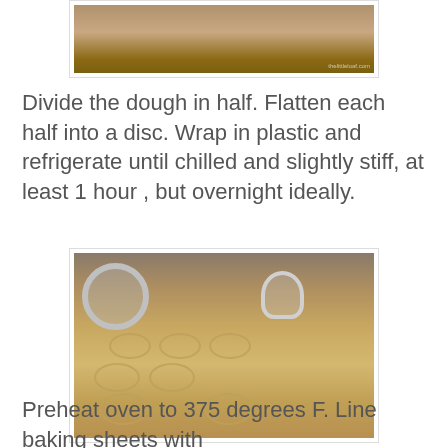[Figure (photo): Top portion of a photo showing dough on a floured surface, partially cropped]
Divide the dough in half. Flatten each half into a disc. Wrap in plastic and refrigerate until chilled and slightly stiff, at least 1 hour , but overnight ideally.
[Figure (photo): Cookie cutter pressing circular shapes into rolled dough on a floured surface, with multiple circular impressions visible]
Preheat oven to 375 degrees F. Line baking sheets with parchment paper. On a lightly floured surface,